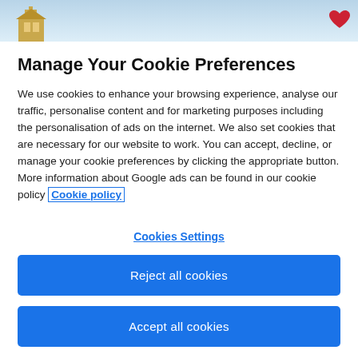[Figure (screenshot): Top banner showing a building/church image on the left and a heart icon on the right against a light blue sky background]
Manage Your Cookie Preferences
We use cookies to enhance your browsing experience, analyse our traffic, personalise content and for marketing purposes including the personalisation of ads on the internet. We also set cookies that are necessary for our website to work. You can accept, decline, or manage your cookie preferences by clicking the appropriate button. More information about Google ads can be found in our cookie policy Cookie policy
Cookies Settings
Reject all cookies
Accept all cookies